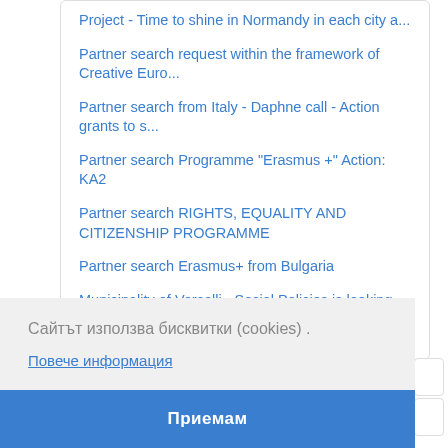Project - Time to shine in Normandy in each city a...
Partner search request within the framework of Creative Euro...
Partner search from Italy - Daphne call - Action grants to s...
Partner search Programme "Erasmus +" Action: KA2
Partner search RIGHTS, EQUALITY AND CITIZENSHIP PROGRAMME
Partner search Erasmus+ from Bulgaria
Municipality of Vercelli - Social Policies is looking for pa...
Сайтът използва бисквитки (cookies) .
Повече информация
Приемам